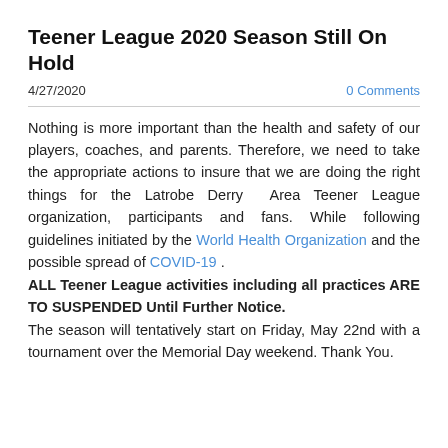Teener League 2020 Season Still On Hold
4/27/2020   0 Comments
Nothing is more important than the health and safety of our players, coaches, and parents. Therefore, we need to take the appropriate actions to insure that we are doing the right things for the Latrobe Derry Area Teener League organization, participants and fans. While following guidelines initiated by the World Health Organization and the possible spread of COVID-19 . ALL Teener League activities including all practices ARE TO SUSPENDED Until Further Notice. The season will tentatively start on Friday, May 22nd with a tournament over the Memorial Day weekend. Thank You.